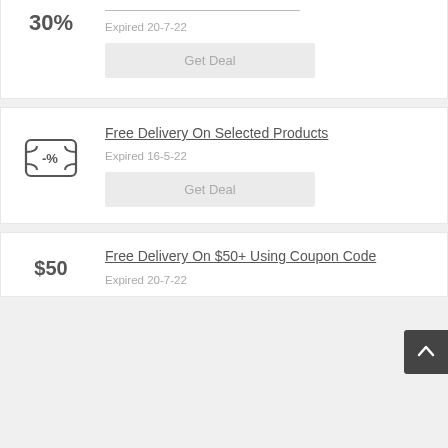30%
Expired 20-7-22
Get Deal
Free Delivery On Selected Products
Expired 16-5-22
Get Deal
Free Delivery On $50+ Using Coupon Code
$50
Expired 20-7-22